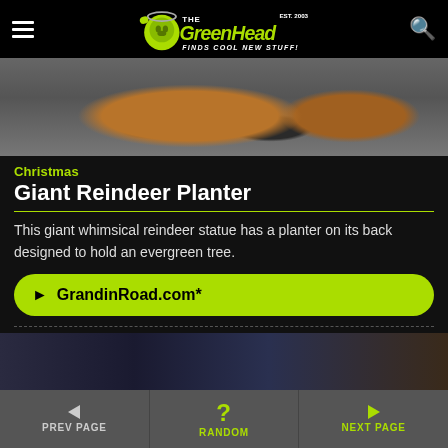The Green Head - Finds Cool New Stuff!
[Figure (photo): Close-up photo of a giant brown reindeer statue lying on its back on a gray surface, showing the legs and body]
Christmas
Giant Reindeer Planter
This giant whimsical reindeer statue has a planter on its back designed to hold an evergreen tree.
▶ GrandinRoad.com*
[Figure (photo): Preview image of next product showing crystal sculptures in a room setting]
◄ PREV PAGE   ? RANDOM   ► NEXT PAGE